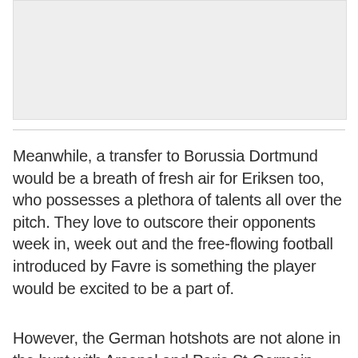[Figure (photo): Image placeholder area, light grey background]
Meanwhile, a transfer to Borussia Dortmund would be a breath of fresh air for Eriksen too, who possesses a plethora of talents all over the pitch. They love to outscore their opponents week in, week out and the free-flowing football introduced by Favre is something the player would be excited to be a part of.
However, the German hotshots are not alone in the hunt with Arsenal and Paris St-Germain